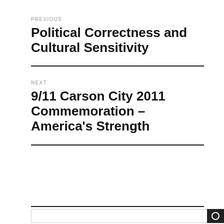PREVIOUS
Political Correctness and Cultural Sensitivity
NEXT
9/11 Carson City 2011 Commemoration – America's Strength